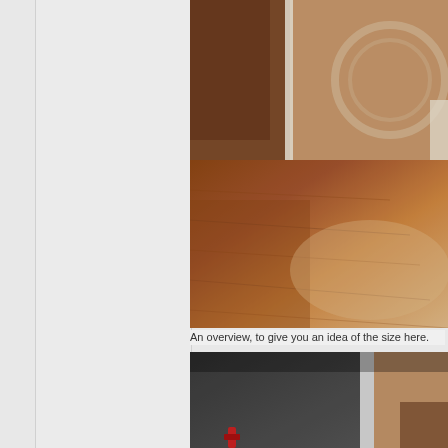[Figure (photo): A blurry photo showing wooden hardwood flooring and what appears to be a wooden cabinet or gate structure with a circular design element on top, viewed from above/angle. The floor is warm brown/orange tone.]
An overview, to give you an idea of the size here.
[Figure (photo): A partially visible photo showing a dark gray or black surface (possibly a gate or panel), with a white vertical bar/post and a red object visible at the bottom left. The scene is partially cropped.]